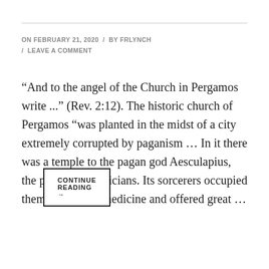ON FEBRUARY 21, 2020 / BY FRLYNCH / LEAVE A COMMENT
“And to the angel of the Church in Pergamos write ...” (Rev. 2:12). The historic church of Pergamos “was planted in the midst of a city extremely corrupted by paganism … In it there was a temple to the pagan god Aesculapius, the patron of physicians. Its sorcerers occupied themselves with medicine and offered great …
CONTINUE READING →